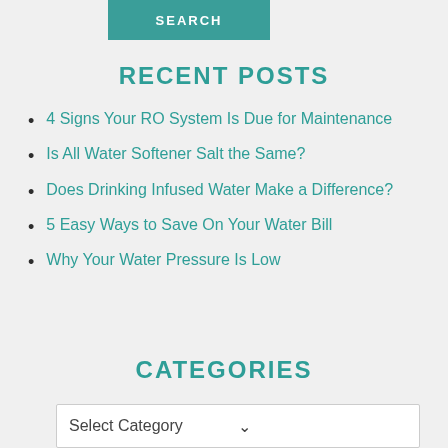[Figure (other): Teal SEARCH button at top of sidebar]
RECENT POSTS
4 Signs Your RO System Is Due for Maintenance
Is All Water Softener Salt the Same?
Does Drinking Infused Water Make a Difference?
5 Easy Ways to Save On Your Water Bill
Why Your Water Pressure Is Low
CATEGORIES
Select Category